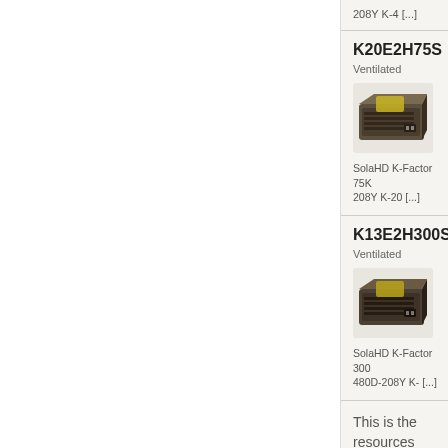208Y K-4 [...]
K20E2H75S
Ventilated
[Figure (photo): SolaHD K-Factor power supply unit, ventilated transformer product photo]
SolaHD K-Factor 75K 208Y K-20 [...]
K13E2H300S
Ventilated
[Figure (photo): SolaHD K-Factor power supply unit, ventilated transformer product photo]
SolaHD K-Factor 300 480D-208Y K- [...]
This is the resources field that